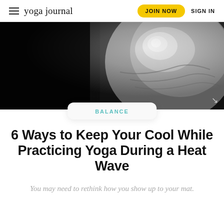yoga journal | JOIN NOW | SIGN IN
[Figure (photo): Black and white close-up photograph of a person's face/eye area, high contrast, mostly dark on left and textured gray tones on right]
BALANCE
6 Ways to Keep Your Cool While Practicing Yoga During a Heat Wave
You may need to rethink how you show up to your mat.